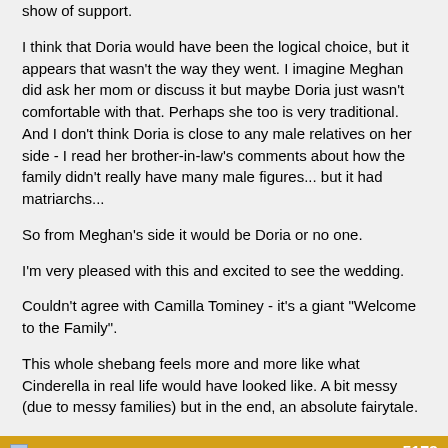show of support.
I think that Doria would have been the logical choice, but it appears that wasn't the way they went. I imagine Meghan did ask her mom or discuss it but maybe Doria just wasn't comfortable with that. Perhaps she too is very traditional. And I don't think Doria is close to any male relatives on her side - I read her brother-in-law's comments about how the family didn't really have many male figures... but it had matriarchs...
So from Meghan's side it would be Doria or no one.
I'm very pleased with this and excited to see the wedding.
Couldn't agree with Camilla Tominey - it's a giant "Welcome to the Family".
This whole shebang feels more and more like what Cinderella in real life would have looked like. A bit messy (due to messy families) but in the end, an absolute fairytale.
05:18:2018, 08:29 AM   5178
FashionMaven
Quote: